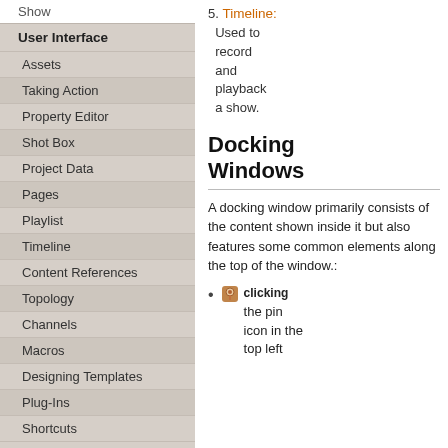Show
User Interface
Assets
Taking Action
Property Editor
Shot Box
Project Data
Pages
Playlist
Timeline
Content References
Topology
Channels
Macros
Designing Templates
Plug-Ins
Shortcuts
5. Timeline: Used to record and playback a show.
Docking Windows
A docking window primarily consists of the content shown inside it but also features some common elements along the top of the window.:
clicking the pin icon in the top left